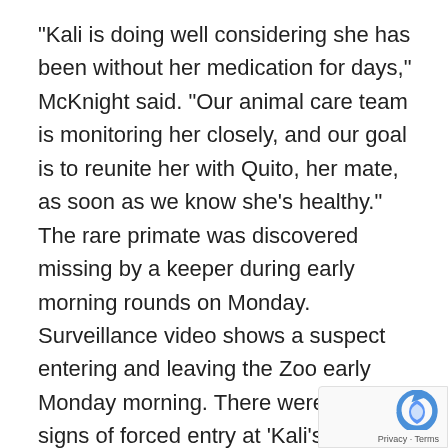“Kali is doing well considering she has been without her medication for days,” McKnight said. “Our animal care team is monitoring her closely, and our goal is to reunite her with Quito, her mate, as soon as we know she’s healthy.” The rare primate was discovered missing by a keeper during early morning rounds on Monday. Surveillance video shows a suspect entering and leaving the Zoo early Monday morning. There were also signs of forced entry at ‘Kali’s’ enclosure.
“We have on-site security guards and surveillance equipment, now we’re looking at increasing both technology and manpower,” McKnight.